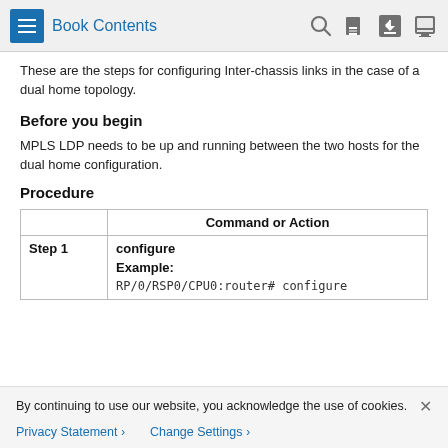Book Contents
These are the steps for configuring Inter-chassis links in the case of a dual home topology.
Before you begin
MPLS LDP needs to be up and running between the two hosts for the dual home configuration.
Procedure
|  | Command or Action |
| --- | --- |
| Step 1 | configure
Example:
RP/0/RSP0/CPU0:router# configure |
By continuing to use our website, you acknowledge the use of cookies.
Privacy Statement > Change Settings >